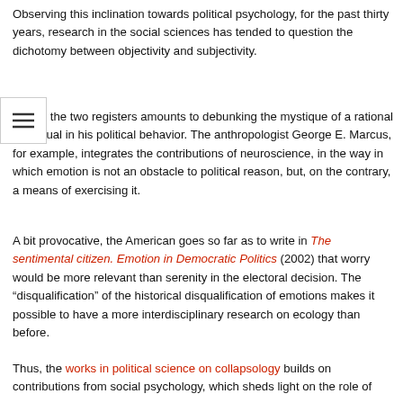Observing this inclination towards political psychology, for the past thirty years, research in the social sciences has tended to question the dichotomy between objectivity and subjectivity.
Mixing the two registers amounts to debunking the mystique of a rational individual in his political behavior. The anthropologist George E. Marcus, for example, integrates the contributions of neuroscience, in the way in which emotion is not an obstacle to political reason, but, on the contrary, a means of exercising it.
A bit provocative, the American goes so far as to write in The sentimental citizen. Emotion in Democratic Politics (2002) that worry would be more relevant than serenity in the electoral decision. The “disqualification” of the historical disqualification of emotions makes it possible to have a more interdisciplinary research on ecology than before.
Thus, the works in political science on collapsology builds on contributions from social psychology, which sheds light on the role of